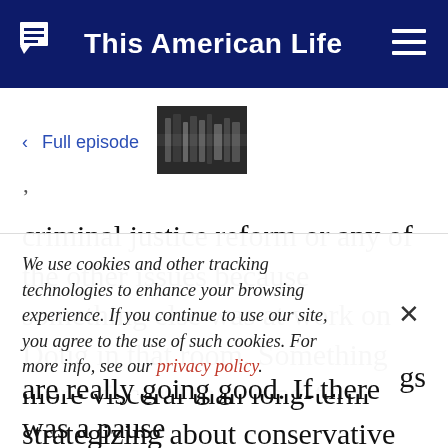This American Life
< Full episode
[Figure (photo): Thumbnail image of episode, showing blurry shelves or objects in dark monochrome]
criminal justice reform or any of the other issues because something else was at work on Doug in that room. Something more visceral than long-term strategizing about conservative ideas. From
We use cookies and other tracking technologies to enhance your browsing experience. If you continue to use our site, you agree to the use of such cookies. For more info, see our privacy policy.
gs
are really going good. If there was a pause